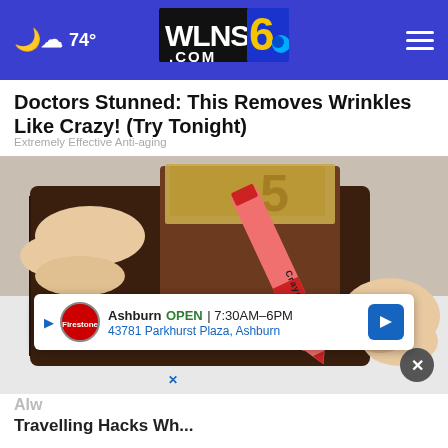74° WLNS 6 .COM (navigation bar)
Doctors Stunned: This Removes Wrinkles Like Crazy! (Try Tonight)
Extremely Effective Anti-aging
[Figure (photo): Hands holding an open brown leather wallet with a red Crayola crayon and some bills inside, on a white surface.]
Ashburn OPEN | 7:30AM–6PM 43781 Parkhurst Plaza, Ashburn
Alw
Travelling Hacks Wh...